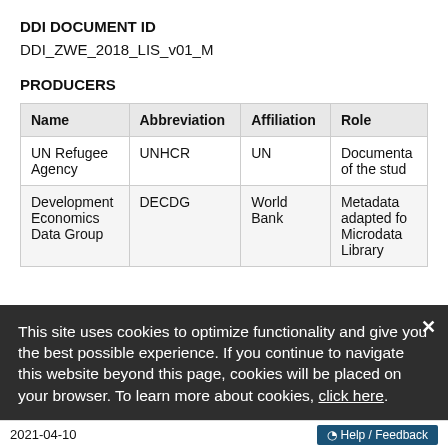DDI DOCUMENT ID
DDI_ZWE_2018_LIS_v01_M
PRODUCERS
| Name | Abbreviation | Affiliation | Role |
| --- | --- | --- | --- |
| UN Refugee Agency | UNHCR | UN | Documenta of the stud |
| Development Economics Data Group | DECDG | World Bank | Metadata adapted fo Microdata Library |
This site uses cookies to optimize functionality and give you the best possible experience. If you continue to navigate this website beyond this page, cookies will be placed on your browser. To learn more about cookies, click here.
2021-04-10